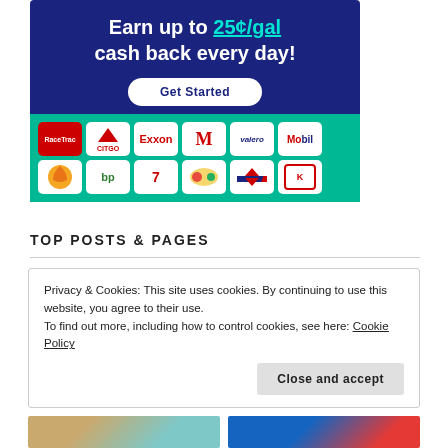[Figure (illustration): Advertisement banner for a gas rewards app. Dark navy blue background with text 'Earn up to 25¢/gal cash back every day!' with '25¢/gal' in teal/underlined, and a 'Get Started' button. Below is a green section showing logos of gas station brands: RaceTrac, Citgo, Exxon, Marathon, Valero, Mobil (top row), Shell, BP, 7-Eleven, Casey's, Chevron, Kwik Trip (bottom row).]
TOP POSTS & PAGES
Privacy & Cookies: This site uses cookies. By continuing to use this website, you agree to their use.
To find out more, including how to control cookies, see here: Cookie Policy
[Figure (photo): Two thumbnail images at the bottom of the page, partially visible. Left image shows a person with jewelry. Right image shows a person in blue clothing.]